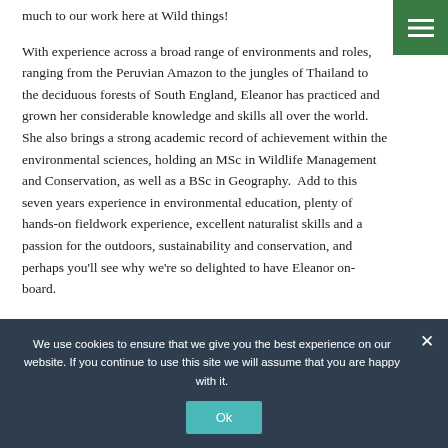much to our work here at Wild things! With experience across a broad range of environments and roles, ranging from the Peruvian Amazon to the jungles of Thailand to the deciduous forests of South England, Eleanor has practiced and grown her considerable knowledge and skills all over the world.  She also brings a strong academic record of achievement within the environmental sciences, holding an MSc in Wildlife Management and Conservation, as well as a BSc in Geography.  Add to this seven years experience in environmental education, plenty of hands-on fieldwork experience, excellent naturalist skills and a passion for the outdoors, sustainability and conservation, and perhaps you'll see why we're so delighted to have Eleanor on-board.
We use cookies to ensure that we give you the best experience on our website. If you continue to use this site we will assume that you are happy with it.